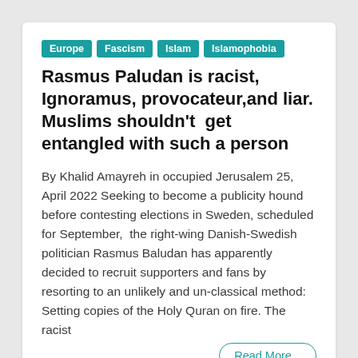Europe
Fascism
Islam
Islamophobia
Rasmus Paludan is racist, Ignoramus, provocateur,and liar. Muslims shouldn't get entangled with such a person
By Khalid Amayreh in occupied Jerusalem 25, April 2022 Seeking to become a publicity hound before contesting elections in Sweden, scheduled for September, the right-wing Danish-Swedish politician Rasmus Baludan has apparently decided to recruit supporters and fans by resorting to an unlikely and un-classical method: Setting copies of the Holy Quran on fire. The racist
Read More...
April 25, 2022   Khaled Amayreh   Comment(0)